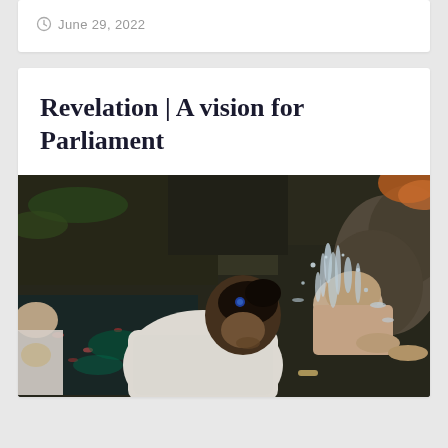June 29, 2022
Revelation | A vision for Parliament
[Figure (photo): People bowing forward under flowing water at what appears to be a traditional water blessing or purification ceremony, with stone structures and greenery in the background.]